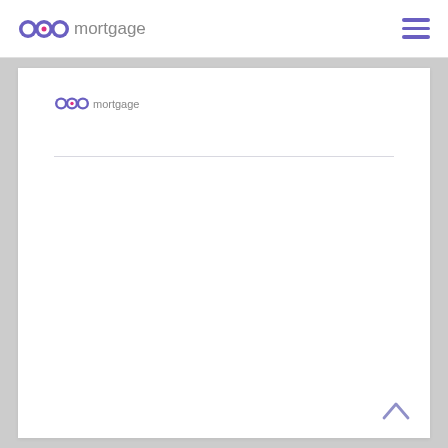pop mortgage
[Figure (logo): pop mortgage logo in content area with horizontal divider below]
[Figure (other): Scroll-to-top chevron arrow in bottom right corner]